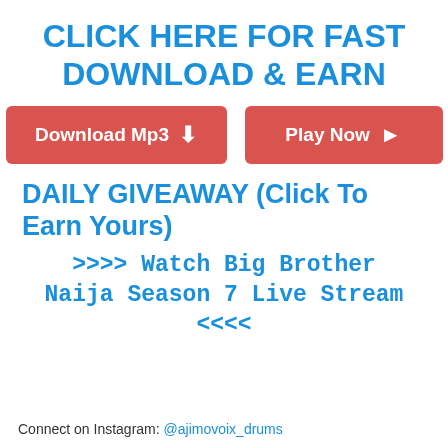CLICK HERE FOR FAST DOWNLOAD & EARN
[Figure (infographic): Two red buttons: 'Download Mp3' with a downward arrow and 'Play Now' with a right-arrow play icon]
DAILY GIVEAWAY (Click To Earn Yours)
>>>> Watch Big Brother Naija Season 7 Live Stream <<<<
Connect on Instagram: @ajimovoix_drums